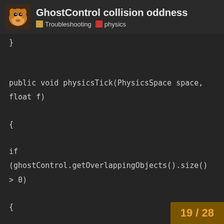GhostControl collision oddness
Troubleshooting  physics
}


public void physicsTick(PhysicsSpace space, float f)

{

if (ghostControl.getOverlappingObjects().size() > 0)

{

fpsText.setText("Overlapping objects: " +
ghostControl.getOverlappingObjects().toString());

}

}
19 / 28